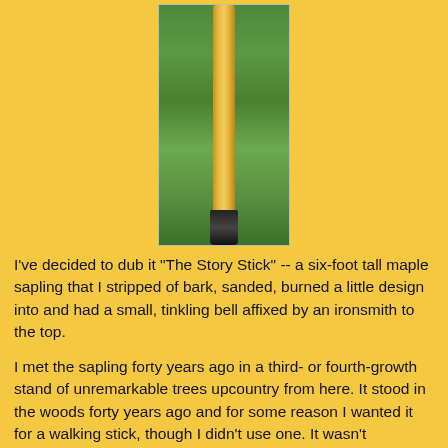[Figure (photo): A tall wooden walking stick or sapling with a dark rubber/metal tip at the bottom, standing upright against a background of green grass. The stick appears light tan/golden in color.]
I've decided to dub it "The Story Stick" -- a six-foot tall maple sapling that I stripped of bark, sanded, burned a little design into and had a small, tinkling bell affixed by an ironsmith to the top.
I met the sapling forty years ago in a third- or fourth-growth stand of unremarkable trees upcountry from here. It stood in the woods forty years ago and for some reason I wanted it for a walking stick, though I didn't use one. It wasn't significantly different from the saplings around it. I cut it down, trimmed it a bit, and saved it until 2011 when at last I got around to 'finishing' it. Kept it for 40 years: That's quite a